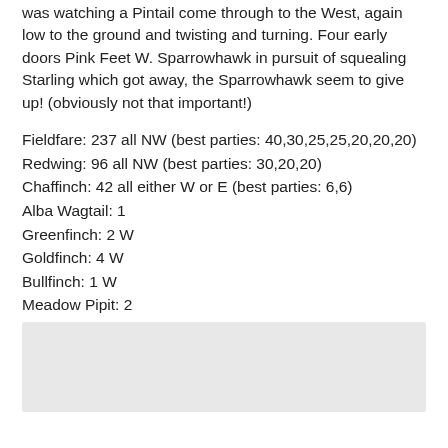was watching a Pintail come through to the West, again low to the ground and twisting and turning. Four early doors Pink Feet W. Sparrowhawk in pursuit of squealing Starling which got away, the Sparrowhawk seem to give up! (obviously not that important!)
Fieldfare: 237 all NW (best parties: 40,30,25,25,20,20,20)
Redwing: 96 all NW (best parties: 30,20,20)
Chaffinch: 42 all either W or E (best parties: 6,6)
Alba Wagtail: 1
Greenfinch: 2 W
Goldfinch: 4 W
Bullfinch: 1 W
Meadow Pipit: 2
Woodpigeon: 14 W
Pintail: 1 W
Pink Footed Goose: 4 SW at 0754hrs.
[Figure (other): Light grey rectangle/box at the bottom of the page]